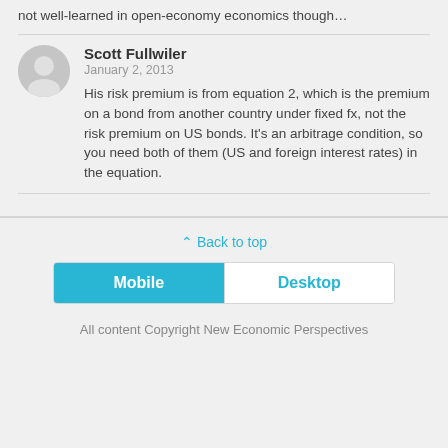not well-learned in open-economy economics though…
Scott Fullwiler
January 2, 2013
His risk premium is from equation 2, which is the premium on a bond from another country under fixed fx, not the risk premium on US bonds. It's an arbitrage condition, so you need both of them (US and foreign interest rates) in the equation.
⋀ Back to top
Mobile   Desktop
All content Copyright New Economic Perspectives